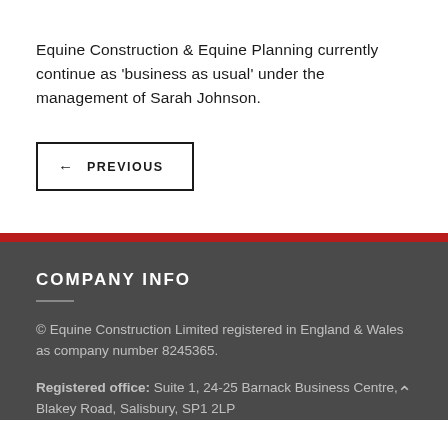Equine Construction & Equine Planning currently continue as 'business as usual' under the management of Sarah Johnson.
← PREVIOUS
COMPANY INFO
© Equine Construction Limited registered in England & Wales as company number 8245365.
Registered office: Suite 1, 24-25 Barnack Business Centre, Blakey Road, Salisbury, SP1 2LP